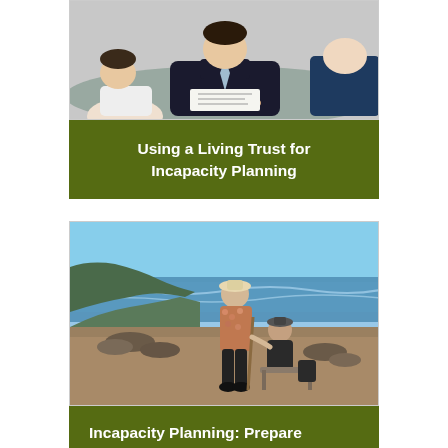[Figure (photo): Business meeting scene: person in suit presenting documents to others across a desk, viewed from above]
Using a Living Trust for Incapacity Planning
[Figure (photo): Elderly person and caregiver standing together on a rocky beach, viewed from behind, with hills and ocean in background]
Incapacity Planning: Prepare